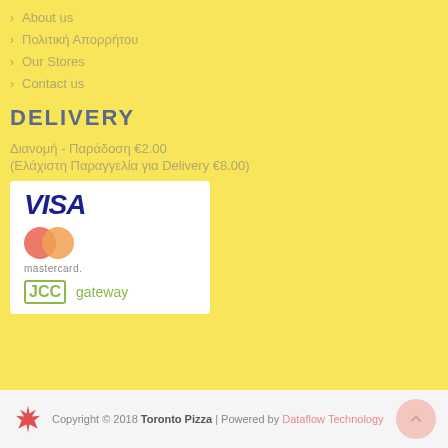About us
Πολιτική Απορρήτου
Our Stores
Contact us
DELIVERY
Διανομή - Παράδοση €2.00
(Ελάχιστη Παραγγελία για Delivery €8.00)
[Figure (logo): Payment logos: VISA, Mastercard, JCC gateway]
Copyright © 2018 Toronto Pizza | Powered by Dataflow Technology